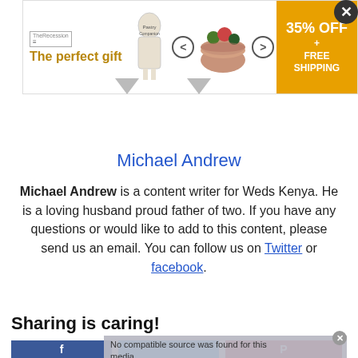[Figure (screenshot): Advertisement banner: 'The perfect gift' with 35% OFF + FREE SHIPPING, showing kitchen/gift items with navigation arrows and close button]
Michael Andrew
Michael Andrew is a content writer for Weds Kenya. He is a loving husband proud father of two. If you have any questions or would like to add to this content, please send us an email. You can follow us on Twitter or facebook.
Sharing is caring!
[Figure (screenshot): Social share buttons: Facebook (blue), Twitter (light blue), Pinterest (red), with a video overlay reading 'No compatible source was found for this media.' and a Porsche advertisement at the bottom.]